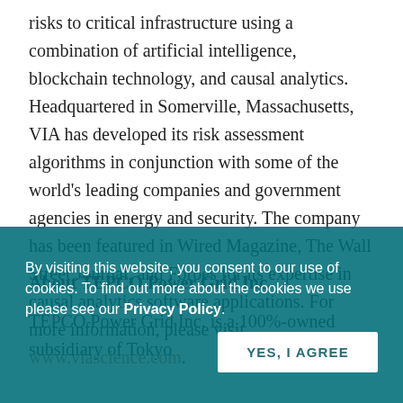risks to critical infrastructure using a combination of artificial intelligence, blockchain technology, and causal analytics. Headquartered in Somerville, Massachusetts, VIA has developed its risk assessment algorithms in conjunction with some of the world's leading companies and government agencies in energy and security. The company has been featured in Wired Magazine, The Wall Street Journal, and Forbes for its expertise in causal analytics software applications. For more information, please visit www.viascience.com.
About TEPCO Power Grid Inc.
TEPCO Power Grid Inc. is a 100%-owned subsidiary of Tokyo Electric Power Holdings, headquartered in the p... of the most stable power supplies in the world including 0.06 per household outage per year and outage time... household per year (both are actual performance in FY2015).
By visiting this website, you consent to our use of cookies. To find out more about the cookies we use please see our Privacy Policy.